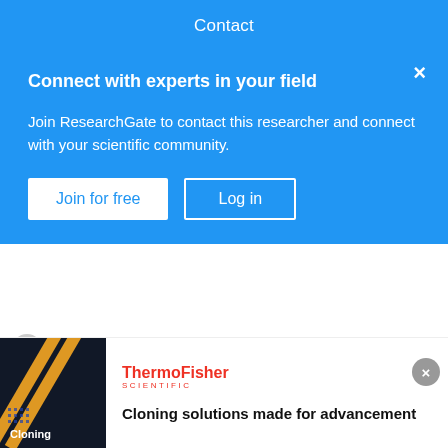Contact
Connect with experts in your field
Join ResearchGate to contact this researcher and connect with your scientific community.
Join for free   Log in
Meredith T. Niles
Policy makers are increasingly encouraging farmers to protect or enhance habitat on their farms for wildlife conservation. However, a lack of knowledge of farmers' opinions toward wildlife can lead to poor integration of conservation measures. We surveyed farmers to assess their perceptions of ecosystem services and disservices from perching birds,...
Advertisement
[Figure (photo): Dark background image with yellow diagonal lines and text 'Cloning' with dots pattern — ThermoFisher Scientific advertisement]
Cloning solutions made for advancement